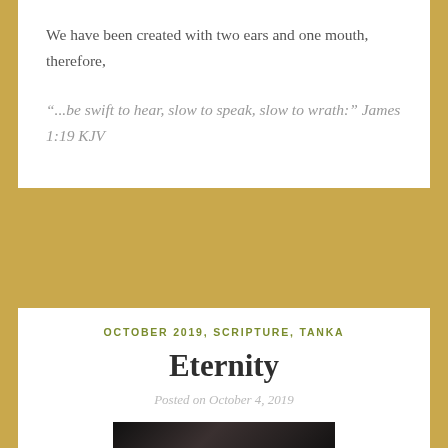We have been created with two ears and one mouth, therefore,
“...be swift to hear, slow to speak, slow to wrath:” James 1:19 KJV
OCTOBER 2019, SCRIPTURE, TANKA
Eternity
Posted on October 4, 2019
[Figure (photo): Dark textured photograph, partially visible at bottom of page]